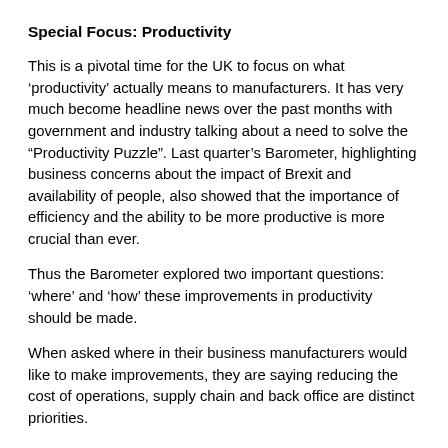Special Focus: Productivity
This is a pivotal time for the UK to focus on what ‘productivity’ actually means to manufacturers. It has very much become headline news over the past months with government and industry talking about a need to solve the “Productivity Puzzle”. Last quarter’s Barometer, highlighting business concerns about the impact of Brexit and availability of people, also showed that the importance of efficiency and the ability to be more productive is more crucial than ever.
Thus the Barometer explored two important questions: ‘where’ and ‘how’ these improvements in productivity should be made.
When asked where in their business manufacturers would like to make improvements, they are saying reducing the cost of operations, supply chain and back office are distinct priorities.
The surprise for some could be in how manufacturers believe they should improve productivity. Businesses say that they intend to prioritise making their existing people and processes more productive ahead of investing in new production facilities or through automation and robotics.    This is somewhat out of step with the developing industrial strategy, which sees robotics